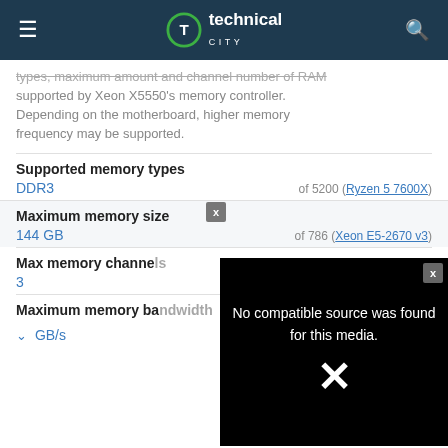technical CITY
types, maximum amount and channel number of RAM supported by Xeon X5550's memory controller. Depending on the motherboard, higher memory frequency may be supported.
Supported memory types
DDR3    of 5200 (Ryzen 5 7600X)
Maximum memory size
144 GB    of 786 (Xeon E5-2670 v3)
Max memory channels
3
Maximum memory bandwidth
GB/s    of 281.6 (Xeon Platinum 9221)
[Figure (screenshot): Video player overlay showing 'No compatible source was found for this media.' error with a large X icon on black background, with a close button in top right corner.]